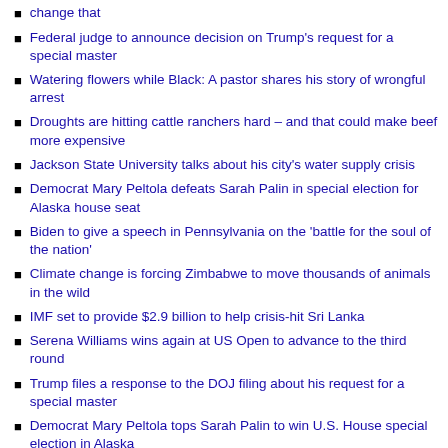change that
Federal judge to announce decision on Trump's request for a special master
Watering flowers while Black: A pastor shares his story of wrongful arrest
Droughts are hitting cattle ranchers hard – and that could make beef more expensive
Jackson State University talks about his city's water supply crisis
Democrat Mary Peltola defeats Sarah Palin in special election for Alaska house seat
Biden to give a speech in Pennsylvania on the 'battle for the soul of the nation'
Climate change is forcing Zimbabwe to move thousands of animals in the wild
IMF set to provide $2.9 billion to help crisis-hit Sri Lanka
Serena Williams wins again at US Open to advance to the third round
Trump files a response to the DOJ filing about his request for a special master
Democrat Mary Peltola tops Sarah Palin to win U.S. House special election in Alaska